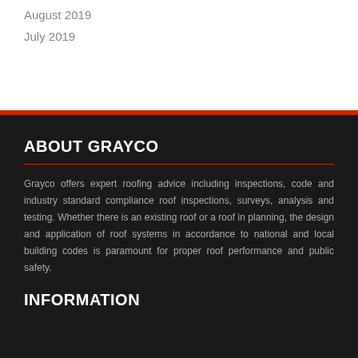August 2019
July 2019
ABOUT GRAYCO
Grayco offers expert roofing advice including inspections, code and industry standard compliance roof inspections, surveys, analysis and testing. Whether there is an existing roof or a roof in planning, the design and application of roof systems in accordance to national and local building codes is paramount for proper roof performance and public safety.
INFORMATION